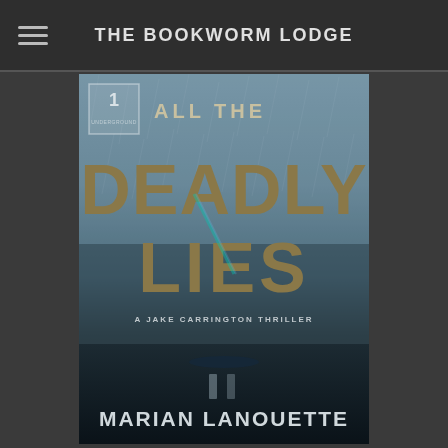THE BOOKWORM LODGE
[Figure (illustration): Book cover for 'All the Deadly Lies' by Marian Lanouette — a Jake Carrington Thriller. Dark atmospheric cover with rain-soaked imagery, large bold text for the title and author name on a dark blue-grey background.]